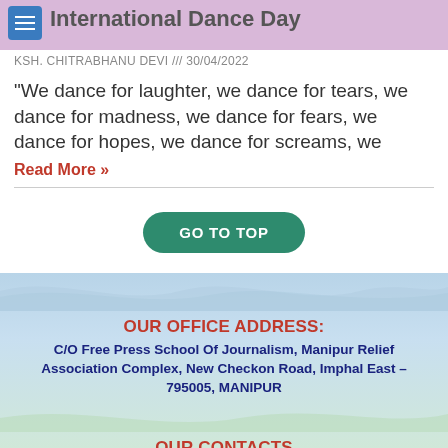International Dance Day
KSH. CHITRABHANU DEVI /// 30/04/2022
“We dance for laughter, we dance for tears, we dance for madness, we dance for fears, we dance for hopes, we dance for screams, we
Read More »
GO TO TOP
OUR OFFICE ADDRESS:
C/O Free Press School Of Journalism, Manipur Relief Association Complex, New Checkon Road, Imphal East – 795005, MANIPUR
OUR CONTACTS
fpsjimphal@gmail.com